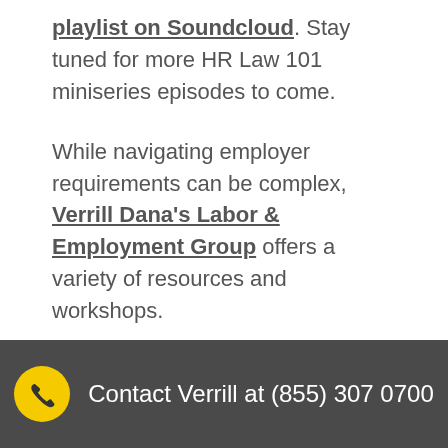playlist on Soundcloud. Stay tuned for more HR Law 101 miniseries episodes to come.
While navigating employer requirements can be complex, Verrill Dana's Labor & Employment Group offers a variety of resources and workshops.
Topics: Discrimination, HR Best Practices, Wage and Hour
Contact Verrill at (855) 307 0700